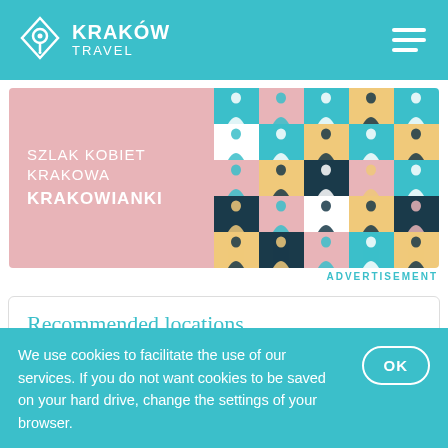KRAKÓW TRAVEL
[Figure (illustration): Advertisement banner for Szlak Kobiet Krakowa - Krakowianki, showing text on pink/mauve left side and colorful checkerboard pattern with female figure icons on the right]
ADVERTISEMENT
Recommended locations
We use cookies to facilitate the use of our services. If you do not want cookies to be saved on your hard drive, change the settings of your browser.